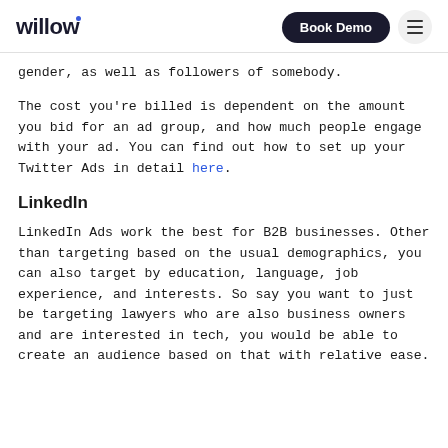willow | Book Demo
gender, as well as followers of somebody.
The cost you're billed is dependent on the amount you bid for an ad group, and how much people engage with your ad. You can find out how to set up your Twitter Ads in detail here.
LinkedIn
LinkedIn Ads work the best for B2B businesses. Other than targeting based on the usual demographics, you can also target by education, language, job experience, and interests. So say you want to just be targeting lawyers who are also business owners and are interested in tech, you would be able to create an audience based on that with relative ease.